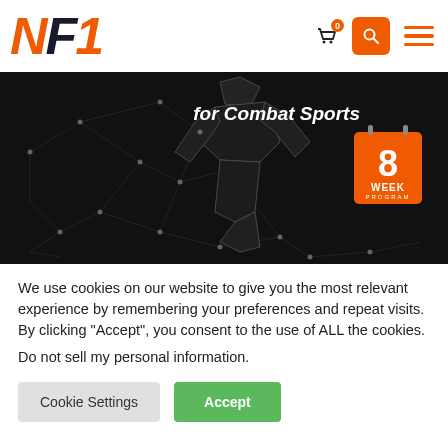NF1 – Navigation header with logo, cart, search, and menu icons
[Figure (screenshot): Dark banner image for Combat Sports 8 Week Program with polygonal athletic figure silhouette and orange calendar badge showing '8 WEEK PROGRAM']
We use cookies on our website to give you the most relevant experience by remembering your preferences and repeat visits. By clicking “Accept”, you consent to the use of ALL the cookies.
Do not sell my personal information.
Cookie Settings   Accept